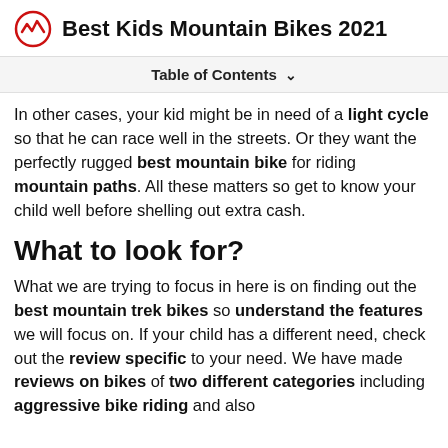Best Kids Mountain Bikes 2021
Table of Contents
In other cases, your kid might be in need of a light cycle so that he can race well in the streets. Or they want the perfectly rugged best mountain bike for riding mountain paths. All these matters so get to know your child well before shelling out extra cash.
What to look for?
What we are trying to focus in here is on finding out the best mountain trek bikes so understand the features we will focus on. If your child has a different need, check out the review specific to your need. We have made reviews on bikes of two different categories including aggressive bike riding and also